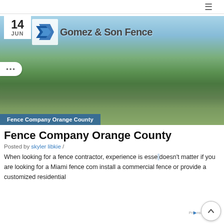≡
[Figure (photo): Banner image of Gomez & Son Fence company showing a chain-link fence along a grassy hillside with trees in the background and blue sky. Includes company logo with blue arrow icon and 'Gomez & Son Fence' text, a date badge '14 JUN', and a blue label bar reading 'Fence Company Orange County'.]
Fence Company Orange County
Posted by skyler libkie /
When looking for a fence contractor, experience is essen doesn't matter if you are looking for a Miami fence com install a commercial fence or provide a customized residential